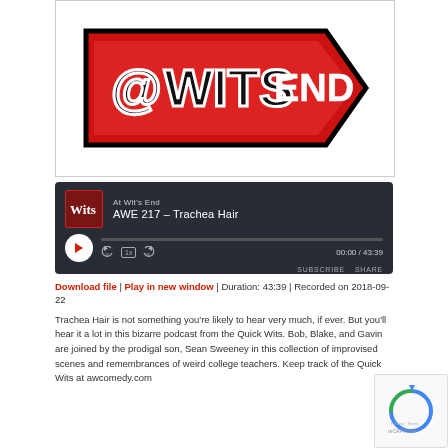[Figure (logo): At Wit's End podcast logo — red arrow shape with '@WICS END' text in black and white on red background]
[Figure (screenshot): Podcast audio player widget with dark background showing 'At Wit's End' show name, episode 'AWE 217 – Trachea Hair', play button, progress bar, speed control (1x), skip buttons, time display 00:00 / 43:39, SUBSCRIBE and SHARE buttons]
Download file | Play in new window | Duration: 43:39 | Recorded on 2018-09-22
Trachea Hair is not something you're likely to hear very much, if ever. But you'll hear it a lot in this bizarre podcast from the Quick Wits. Bob, Blake, and Gavin are joined by the prodigal son, Sean Sweeney in this collection of improvised scenes and remembrances of weird college teachers. Keep track of the Quick Wits at awcomedy.com